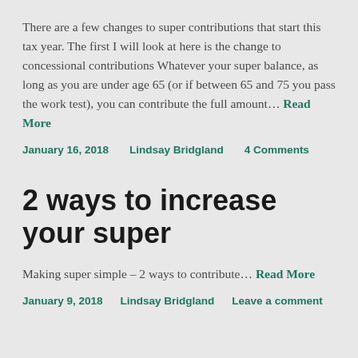There are a few changes to super contributions that start this tax year. The first I will look at here is the change to concessional contributions Whatever your super balance, as long as you are under age 65 (or if between 65 and 75 you pass the work test), you can contribute the full amount… Read More
January 16, 2018    Lindsay Bridgland    4 Comments
2 ways to increase your super
Making super simple – 2 ways to contribute… Read More
January 9, 2018    Lindsay Bridgland    Leave a comment